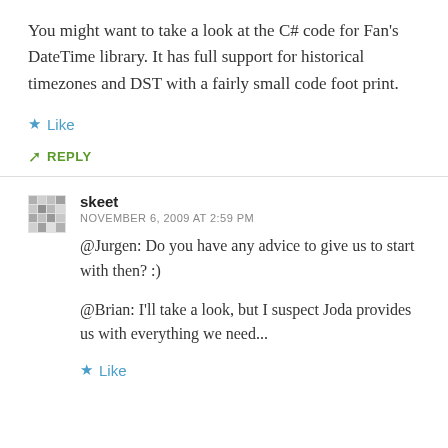You might want to take a look at the C# code for Fan's DateTime library. It has full support for historical timezones and DST with a fairly small code foot print.
★ Like
↪ REPLY
skeet
NOVEMBER 6, 2009 AT 2:59 PM
@Jurgen: Do you have any advice to give us to start with then? :)
@Brian: I'll take a look, but I suspect Joda provides us with everything we need...
★ Like